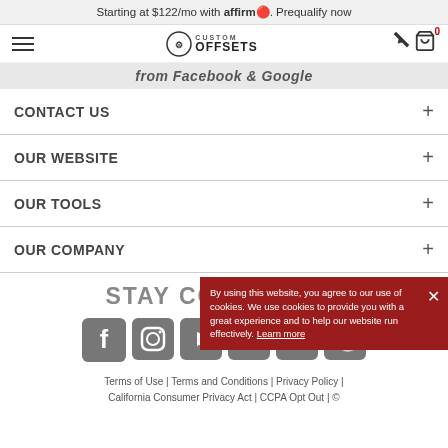Starting at $122/mo with affirm. Prequalify now
[Figure (logo): Custom Offsets logo with hamburger menu and cart icon showing 0 items]
from Facebook & Google
CONTACT US +
OUR WEBSITE +
OUR TOOLS +
OUR COMPANY +
STAY CONNECTED
[Figure (infographic): Social media icons row: Facebook, Instagram, YouTube, TikTok, Twitter, Snapchat]
By using this website, you agree to our use of cookies. We use cookies to provide you with a great experience and to help our website run effectively. Learn more
Terms of Use | Terms and Conditions | Privacy Policy | California Consumer Privacy Act | CCPA Opt Out | ©